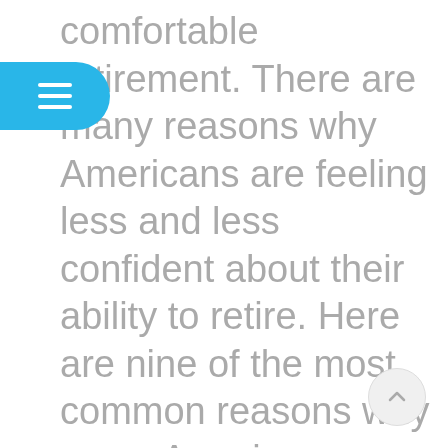comfortable retirement. There are many reasons why Americans are feeling less and less confident about their ability to retire. Here are nine of the most common reasons why many Americans may never be able to retire.
[Figure (other): Broken image placeholder labeled 'Advertisement']
[Figure (other): Scroll-to-top button (circular, light gray) in bottom-right corner with an upward chevron arrow]